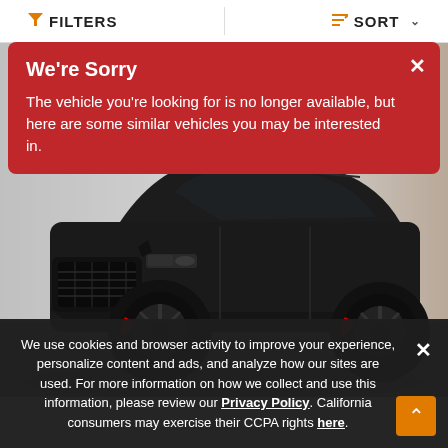FILTERS   SORT
We're Sorry
The vehicle you're looking for is no longer available, but here are some similar vehicles you may be interested in.
[Figure (photo): Black Range Rover SUV photographed from a front-three-quarter angle in a showroom or garage setting. Badge showing 47 photos is visible in the top left corner.]
We use cookies and browser activity to improve your experience, personalize content and ads, and analyze how our sites are used. For more information on how we collect and use this information, please review our Privacy Policy. California consumers may exercise their CCPA rights here.